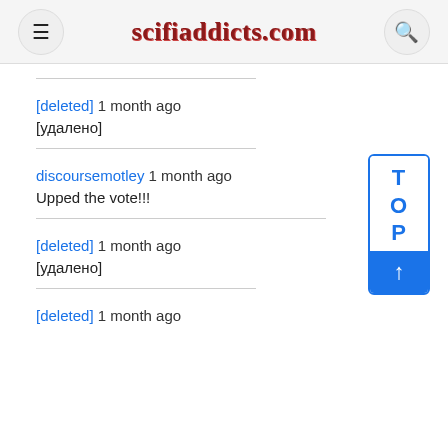scifiaddicts.com
[deleted] 1 month ago
[удалено]
discoursemotley 1 month ago
Upped the vote!!!
[deleted] 1 month ago
[удалено]
[deleted] 1 month ago